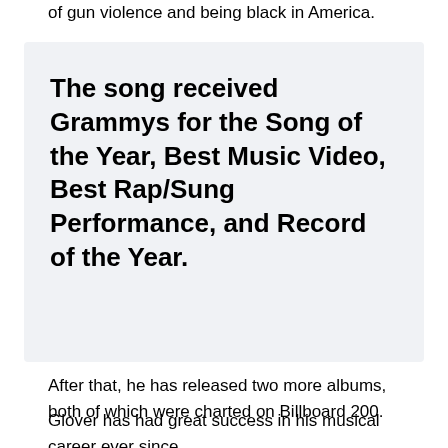of gun violence and being black in America.
The song received Grammys for the Song of the Year, Best Music Video, Best Rap/Sung Performance, and Record of the Year.
After that, he has released two more albums, both of which were charted on Billboard 200.
Glover has had great success in his musical career ever since.